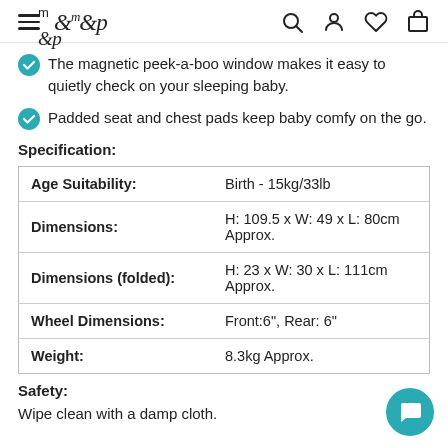m&p — navigation header with hamburger, logo, search, account, wishlist, cart icons
The magnetic peek-a-boo window makes it easy to quietly check on your sleeping baby.
Padded seat and chest pads keep baby comfy on the go.
Specification:
| Attribute | Value |
| --- | --- |
| Age Suitability: | Birth - 15kg/33lb |
| Dimensions: | H: 109.5 x W: 49 x L: 80cm Approx. |
| Dimensions (folded): | H: 23 x W: 30 x L: 111cm Approx. |
| Wheel Dimensions: | Front:6", Rear: 6" |
| Weight: | 8.3kg Approx. |
Safety:
Wipe clean with a damp cloth.